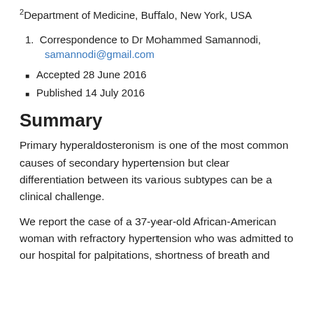2Department of Medicine, Buffalo, New York, USA
1. Correspondence to Dr Mohammed Samannodi, samannodi@gmail.com
Accepted 28 June 2016
Published 14 July 2016
Summary
Primary hyperaldosteronism is one of the most common causes of secondary hypertension but clear differentiation between its various subtypes can be a clinical challenge.
We report the case of a 37-year-old African-American woman with refractory hypertension who was admitted to our hospital for palpitations, shortness of breath and